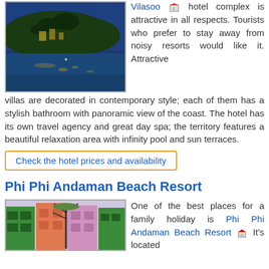[Figure (photo): Night view of a coastal hotel complex on a hillside with lights reflecting on water]
Vilasoo hotel complex is attractive in all respects. Tourists who prefer to stay away from noisy resorts would like it. Attractive villas are decorated in contemporary style; each of them has a stylish bathroom with panoramic view of the coast. The hotel has its own travel agency and great day spa; the territory features a beautiful relaxation area with infinity pool and sun terraces.
Check the hotel prices and availability
Phi Phi Andaman Beach Resort
[Figure (photo): Colorful resort buildings with green, orange and red facades and decorative palm sculptures]
One of the best places for a family holiday is Phi Phi Andaman Beach Resort. It's located